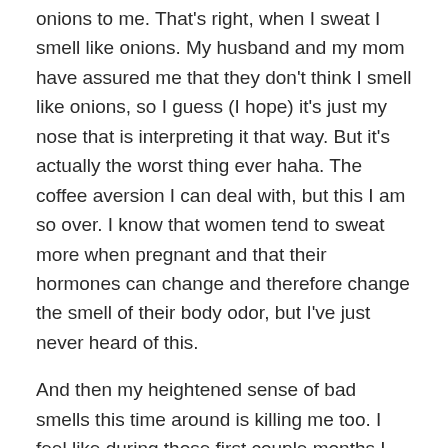onions to me. That's right, when I sweat I smell like onions. My husband and my mom have assured me that they don't think I smell like onions, so I guess (I hope) it's just my nose that is interpreting it that way. But it's actually the worst thing ever haha. The coffee aversion I can deal with, but this I am so over. I know that women tend to sweat more when pregnant and that their hormones can change and therefore change the smell of their body odor, but I've just never heard of this.
And then my heightened sense of bad smells this time around is killing me too. I feel like during those first couple months I was so sensitive to so many different smells. Even smells I usually really enjoy such as citrus fruits had a very off putting odor to me. Oh well, I can only hope that these things will disappear once the baby is born. Somebody please tell me these things will go away!!